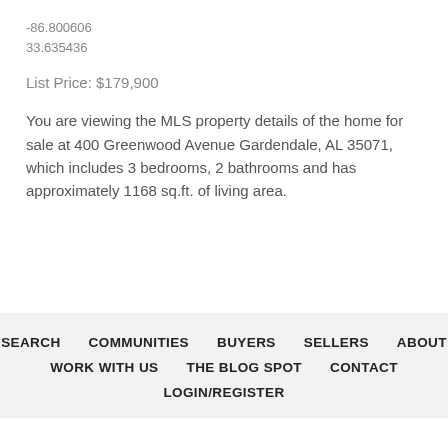-86.800606
33.635436
List Price: $179,900
You are viewing the MLS property details of the home for sale at 400 Greenwood Avenue Gardendale, AL 35071, which includes 3 bedrooms, 2 bathrooms and has approximately 1168 sq.ft. of living area.
SEARCH   COMMUNITIES   BUYERS   SELLERS   ABOUT   WORK WITH US   THE BLOG SPOT   CONTACT   LOGIN/REGISTER